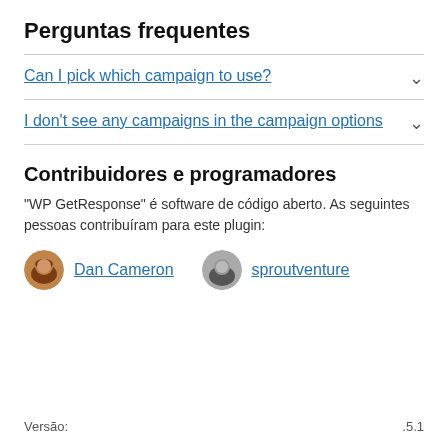Perguntas frequentes
Can I pick which campaign to use?
I don't see any campaigns in the campaign options
Contribuidores e programadores
"WP GetResponse" é software de código aberto. As seguintes pessoas contribuíram para este plugin:
Dan Cameron   sproutventure
Versão:   .5.1